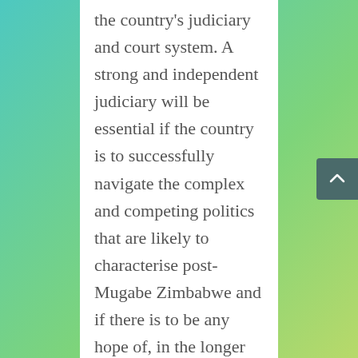the country's judiciary and court system. A strong and independent judiciary will be essential if the country is to successfully navigate the complex and competing politics that are likely to characterise post-Mugabe Zimbabwe and if there is to be any hope of, in the longer term, dealing with issues of transitional justice. While the politicisation of the